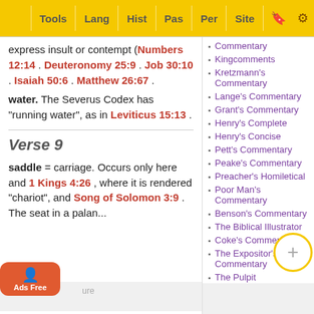Tools | Lang | Hist | Pas | Per | Site
express insult or contempt (Numbers 12:14 . Deuteronomy 25:9 . Job 30:10 . Isaiah 50:6 . Matthew 26:67 .
water. The Severus Codex has "running water", as in Leviticus 15:13 .
Verse 9
saddle = carriage. Occurs only here and 1 Kings 4:26 , where it is rendered "chariot", and Song of Solomon 3:9 . The seat in a palanquin occurs ...ure
Commentary
Kingcomments
Kretzmann's Commentary
Lange's Commentary
Grant's Commentary
Henry's Complete
Henry's Concise
Pett's Commentary
Peake's Commentary
Preacher's Homiletical
Poor Man's Commentary
Benson's Commentary
The Biblical Illustrator
Coke's Commentary
The Expositor's Commentary
The Pulpit